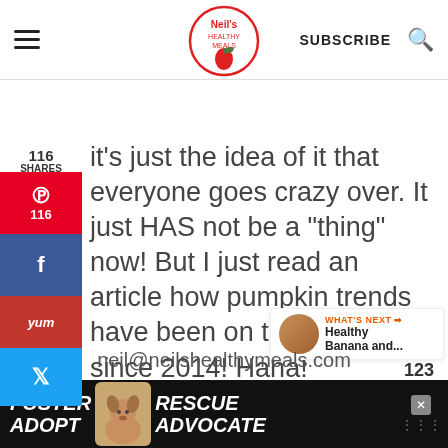Neil's Healthy Meals — SUBSCRIBE
it's just the idea of it that everyone goes crazy over. It just HAS not be a "thing" now! But I just read an article how pumpkin trends have been on the decline since 2014! Haha!
116 SHARES
LY
123
WHAT'S NEXT → Healthy Banana and...
neil@neilshealthymeals.com
[Figure (infographic): Ad banner: FOSTER ADOPT (dog image) RESCUE ADVOCATE with close button and weather icon]